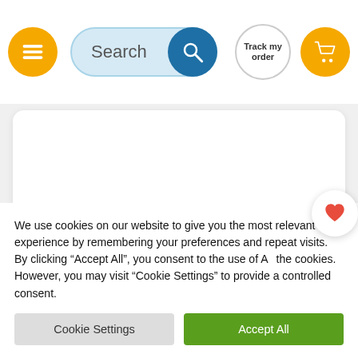[Figure (screenshot): Navigation header with hamburger menu button (yellow circle), search bar with blue search icon, Track my order button, and shopping cart button (yellow circle)]
Modern Chef With Cake Card
£2.99
We use cookies on our website to give you the most relevant experience by remembering your preferences and repeat visits. By clicking "Accept All", you consent to the use of All the cookies. However, you may visit "Cookie Settings" to provide a controlled consent.
Cookie Settings
Accept All